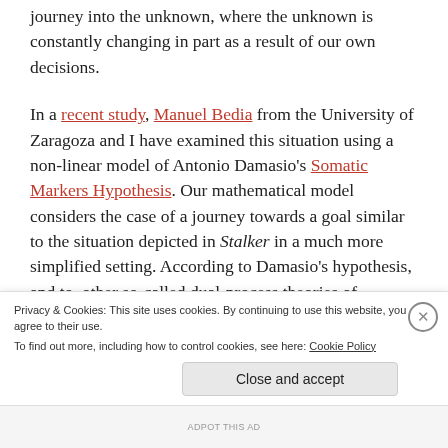journey into the unknown, where the unknown is constantly changing in part as a result of our own decisions.
In a recent study, Manuel Bedia from the University of Zaragoza and I have examined this situation using a non-linear model of Antonio Damasio's Somatic Markers Hypothesis. Our mathematical model considers the case of a journey towards a goal similar to the situation depicted in Stalker in a much more simplified setting. According to Damasio's hypothesis, and to other so-called dual-process theories of
Privacy & Cookies: This site uses cookies. By continuing to use this website, you agree to their use.
To find out more, including how to control cookies, see here: Cookie Policy
Close and accept